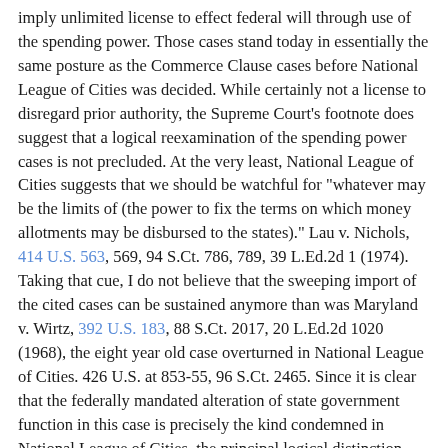imply unlimited license to effect federal will through use of the spending power. Those cases stand today in essentially the same posture as the Commerce Clause cases before National League of Cities was decided. While certainly not a license to disregard prior authority, the Supreme Court's footnote does suggest that a logical reexamination of the spending power cases is not precluded. At the very least, National League of Cities suggests that we should be watchful for "whatever may be the limits of (the power to fix the terms on which money allotments may be disbursed to the states)." Lau v. Nichols, 414 U.S. 563, 569, 94 S.Ct. 786, 789, 39 L.Ed.2d 1 (1974). Taking that cue, I do not believe that the sweeping import of the cited cases can be sustained anymore than was Maryland v. Wirtz, 392 U.S. 183, 88 S.Ct. 2017, 20 L.Ed.2d 1020 (1968), the eight year old case overturned in National League of Cities. 426 U.S. at 853-55, 96 S.Ct. 2465. Since it is clear that the federally mandated alteration of state government function in this case is precisely the kind condemned in National League of Cities, the principal logical distinction between the cases, if any, must be bottomed on the fiction that the spending power cases involve a freedom of choice which is not available under the mandated programs condemned in National League of Cities. The time has long since passed when the mere formality of choice should satisfy constitutional requirements.